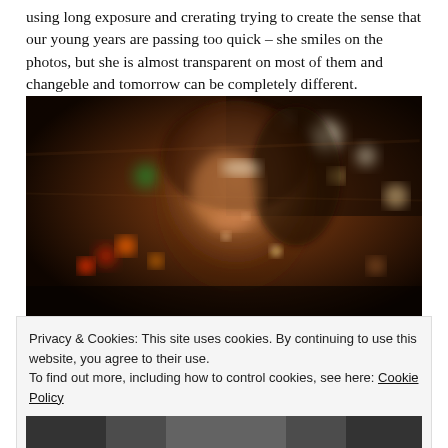using long exposure and crerating trying to create the sense that our young years are passing too quick – she smiles on the photos, but she is almost transparent on most of them and changeble and tomorrow can be completely different.
[Figure (photo): Long-exposure night photo of a young woman smiling, motion blur effect, city lights bokeh in background, warm orange tones, ghostly transparent appearance.]
Privacy & Cookies: This site uses cookies. By continuing to use this website, you agree to their use.
To find out more, including how to control cookies, see here: Cookie Policy
Close and accept